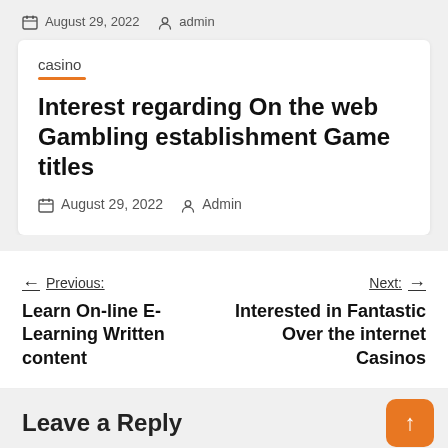August 29, 2022  admin
casino
Interest regarding On the web Gambling establishment Game titles
August 29, 2022  Admin
← Previous: Learn On-line E-Learning Written content
Next: → Interested in Fantastic Over the internet Casinos
Leave a Reply
Your email address will not be published. Required